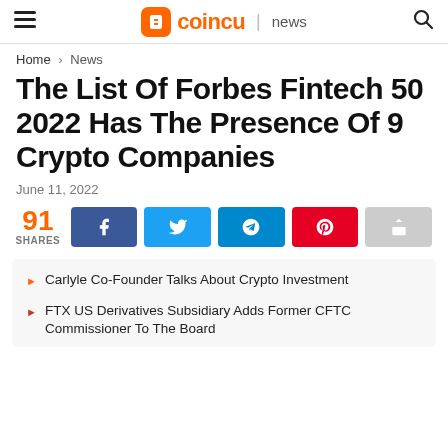coincu news
Home > News
The List Of Forbes Fintech 50 2022 Has The Presence Of 9 Crypto Companies
June 11, 2022
91 SHARES
Carlyle Co-Founder Talks About Crypto Investment
FTX US Derivatives Subsidiary Adds Former CFTC Commissioner To The Board